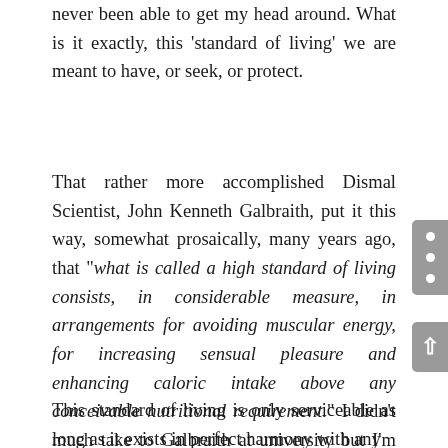never been able to get my head around. What is it exactly, this 'standard of living' we are meant to have, or seek, or protect.
That rather more accomplished Dismal Scientist, John Kenneth Galbraith, put it this way, somewhat prosaically, many years ago, that "what is called a high standard of living consists, in considerable measure, in arrangements for avoiding muscular energy, for increasing sensual pleasure and enhancing caloric intake above any conceivable nutritional requirement." I didn't much take to Galbraith at university but I'm beginning to warm to him.
This standard of living is only serviceable as long as it exists in perfect harmony with any